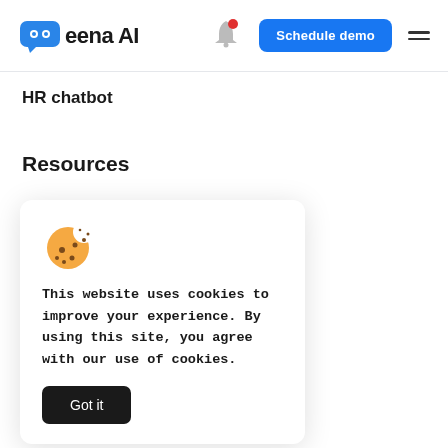Leena AI — Schedule demo
HR chatbot
Resources
Blog
[Figure (illustration): Cookie emoji icon — a round cookie with a bite taken out and chocolate chip dots]
This website uses cookies to improve your experience. By using this site, you agree with our use of cookies.
Got it
Company